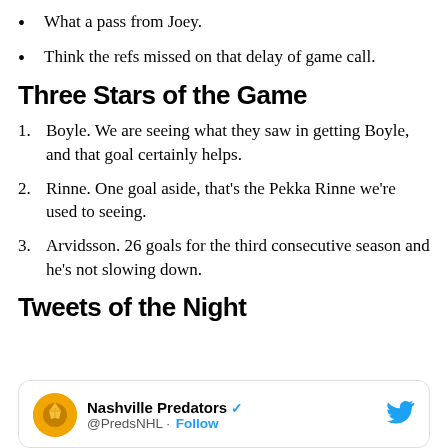What a pass from Joey.
Think the refs missed on that delay of game call.
Three Stars of the Game
1. Boyle. We are seeing what they saw in getting Boyle, and that goal certainly helps.
2. Rinne. One goal aside, that's the Pekka Rinne we're used to seeing.
3. Arvidsson. 26 goals for the third consecutive season and he's not slowing down.
Tweets of the Night
Nashville Predators @PredsNHL · Follow